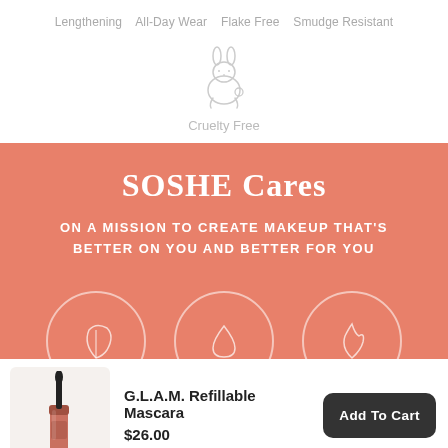Lengthening  All-Day Wear  Flake Free  Smudge Resistant
[Figure (illustration): Line drawing of a rabbit (cruelty-free icon) with 'Cruelty Free' label below]
[Figure (infographic): Salmon/coral colored banner with 'SOSHE Cares' title and 'ON A MISSION TO CREATE MAKEUP THAT'S BETTER ON YOU AND BETTER FOR YOU' subtitle, with three circular icon badges at the bottom]
[Figure (photo): Product photo of G.L.A.M. Refillable Mascara tube and wand on a light background]
G.L.A.M. Refillable Mascara
$26.00
Add To Cart